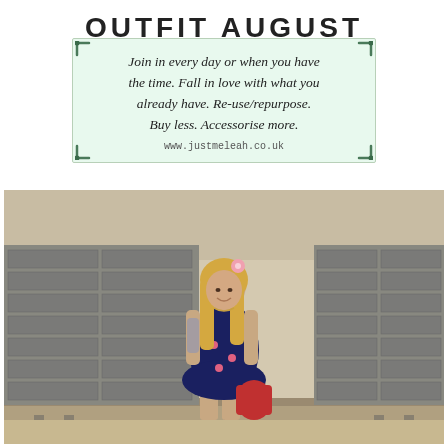OUTFIT AUGUST
[Figure (infographic): Light green card with script italic text: 'Join in every day or when you have the time. Fall in love with what you already have. Re-use/repurpose. Buy less. Accessorise more.' with URL www.justmeleah.co.uk and decorative corner accents]
[Figure (photo): Young woman with long blonde hair wearing a navy blue flamingo-print sundress, tattoos on arms, pink flower hair accessory, red handbag, standing in front of grey metal mailboxes/lockers in what appears to be a lobby or post room]